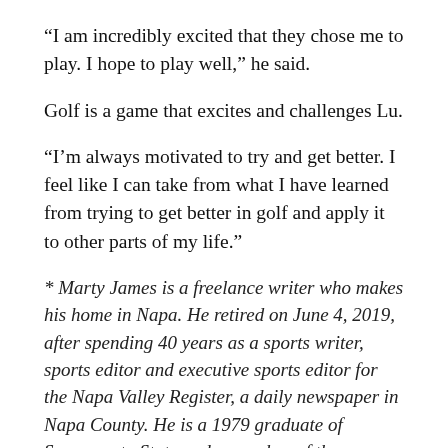“I am incredibly excited that they chose me to play. I hope to play well,” he said.
Golf is a game that excites and challenges Lu.
“I’m always motivated to try and get better. I feel like I can take from what I have learned from trying to get better in golf and apply it to other parts of my life.”
* Marty James is a freelance writer who makes his home in Napa. He retired on June 4, 2019, after spending 40 years as a sports writer, sports editor and executive sports editor for the Napa Valley Register, a daily newspaper in Napa County. He is a 1979 graduate of Sacramento State and a member of the